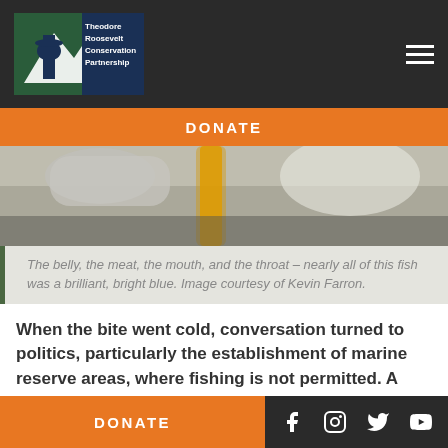Theodore Roosevelt Conservation Partnership
[Figure (photo): Close-up photo of a fish, showing yellow and light colored elements, blurred background]
The belly, the meat, the mouth, and the throat – nearly all of this fish was a brilliant, bright blue. Image courtesy of Kevin Farron.
When the bite went cold, conversation turned to politics, particularly the establishment of marine reserve areas, where fishing is not permitted. A compromise reached in 2012 limited the proposed reserve areas to a handful of designated waterways, comprising about 10 percent of the territorial sea
DONATE